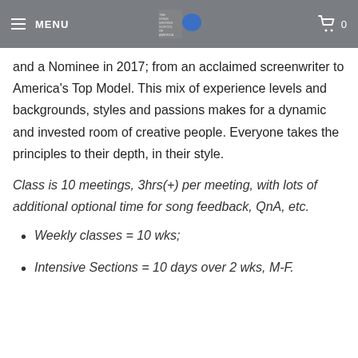MENU
and a Nominee in 2017; from an acclaimed screenwriter to America's Top Model. This mix of experience levels and backgrounds, styles and passions makes for a dynamic and invested room of creative people. Everyone takes the principles to their depth, in their style.
Class is 10 meetings, 3hrs(+) per meeting, with lots of additional optional time for song feedback, QnA, etc.
Weekly classes = 10 wks;
Intensive Sections = 10 days over 2 wks, M-F.